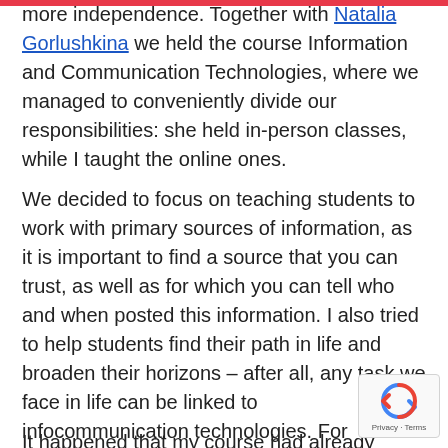more independence. Together with Natalia Gorlushkina we held the course Information and Communication Technologies, where we managed to conveniently divide our responsibilities: she held in-person classes, while I taught the online ones.
We decided to focus on teaching students to work with primary sources of information, as it is important to find a source that you can trust, as well as for which you can tell who and when posted this information. I also tried to help students find their path in life and broaden their horizons – after all, any task we face in life can be linked to infocommunication technologies. For instance, they had the task to compare various messenger apps and write what they would choose about each of them.
It happened that my course had already finished